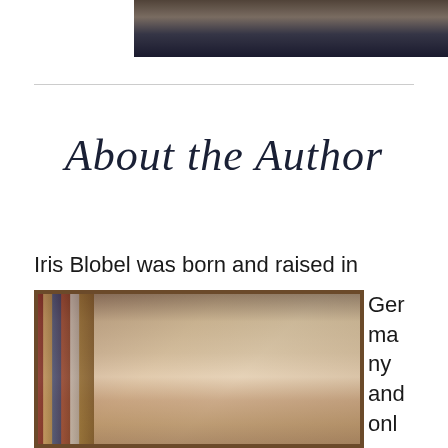[Figure (photo): Top portion of a book cover image showing a coastal/beach scene with dark tones]
About the Author
Iris Blobel was born and raised in Germany and onl
[Figure (photo): Author photo of Iris Blobel, a woman with blonde hair, in front of bookshelves, framed portrait style]